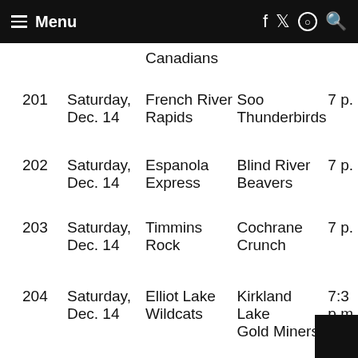Menu
| # | Date | Home | Away | Time |
| --- | --- | --- | --- | --- |
|  |  | Canadians |  |  |
| 201 | Saturday, Dec. 14 | French River Rapids | Soo Thunderbirds | 7 p. |
| 202 | Saturday, Dec. 14 | Espanola Express | Blind River Beavers | 7 p. |
| 203 | Saturday, Dec. 14 | Timmins Rock | Cochrane Crunch | 7 p. |
| 204 | Saturday, Dec. 14 | Elliot Lake Wildcats | Kirkland Lake Gold Miners | 7:30 p.m. |